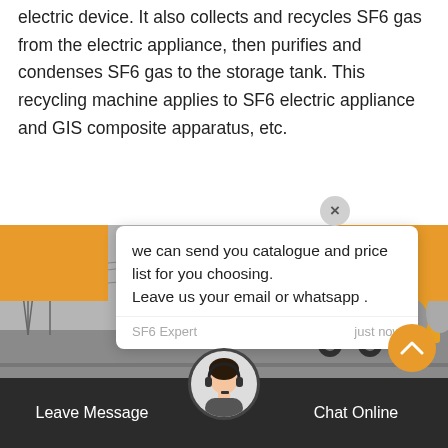electric device. It also collects and recycles SF6 gas from the electric appliance, then purifies and condenses SF6 gas to the storage tank. This recycling machine applies to SF6 electric appliance and GIS composite apparatus, etc.
[Figure (screenshot): Chat popup overlay on a webpage showing message: 'we can send you catalogue and price list for you choosing. Leave us your email or whatsapp .' from SF6 Expert, just now. With reply box below and green notification bubble. Background shows a yellow truck at an electrical substation.]
we can send you catalogue and price list for you choosing.
Leave us your email or whatsapp .
SF6 Expert    just now
Write a reply..
Leave Message    Chat Online